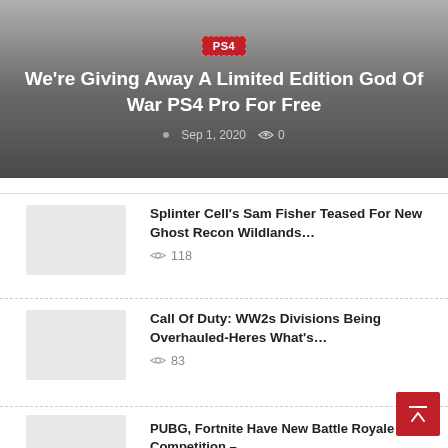[Figure (screenshot): Hero banner with dark gray gradient background, PS4 badge, article title, and meta info]
We're Giving Away A Limited Edition God Of War PS4 Pro For Free
Sep 1, 2020   0
[Figure (photo): Thumbnail placeholder for Splinter Cell article]
Splinter Cell's Sam Fisher Teased For New Ghost Recon Wildlands…
118
[Figure (photo): Thumbnail placeholder for Call of Duty article]
Call Of Duty: WW2s Divisions Being Overhauled-Heres What's…
83
[Figure (photo): Thumbnail placeholder for PUBG article]
PUBG, Fortnite Have New Battle Royale Competition –